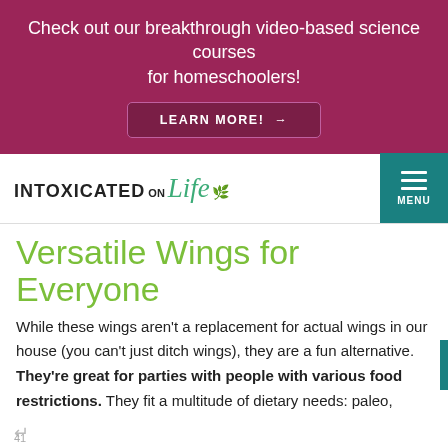Check out our breakthrough video-based science courses for homeschoolers! LEARN MORE! →
[Figure (logo): Intoxicated on Life logo with teal leaf graphic and teal menu button]
Versatile Wings for Everyone
While these wings aren't a replacement for actual wings in our house (you can't just ditch wings), they are a fun alternative. They're great for parties with people with various food restrictions. They fit a multitude of dietary needs: paleo, vegan, dairy-free, gluten-free, grain-free, low-fat (do people even eat that way anymore?! Let's hope
41